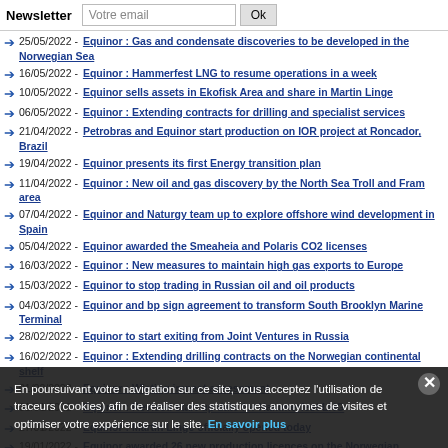Newsletter | Votre email | Ok
25/05/2022 - Equinor : Gas and condensate discoveries to be developed in the Norwegian Sea
16/05/2022 - Equinor : Hammerfest LNG to resume operations in a week
10/05/2022 - Equinor sells assets in Ekofisk Area and share in Martin Linge
06/05/2022 - Equinor : Extending contracts for drilling and specialist services
21/04/2022 - Petrobras and Equinor start production on IOR project at Roncador, Brazil
19/04/2022 - Equinor presents its first Energy transition plan
11/04/2022 - Equinor : New oil and gas discovery by the North Sea Troll and Fram area
07/04/2022 - Equinor and Naturgy team up to explore offshore wind development in Spain
05/04/2022 - Equinor awarded the Smeaheia and Polaris CO2 licenses
16/03/2022 - Equinor : New measures to maintain high gas exports to Europe
15/03/2022 - Equinor to stop trading in Russian oil and oil products
04/03/2022 - Equinor and bp sign agreement to transform South Brooklyn Marine Terminal
28/02/2022 - Equinor to start exiting from Joint Ventures in Russia
16/02/2022 - Equinor : Extending drilling contracts on the Norwegian continental shelf
01/02/2022 - Equinor : Wisting impact assessment
31/01/2022 - Equinor : Revised start-up date for Hammerfest LNG
27/01/2022 - Equinor : Martin Linge officially opened today
19/01/2022 - Equinor awarded 26 new production licences on the Norwegian continental shelf
12/01/2022 - Equinor : Revision to Mariner reserves
07/01/2022 - New oil discovery close to North Sea Fram field
En poursuivant votre navigation sur ce site, vous acceptez l'utilisation de traceurs (cookies) afin de réaliser des statistiques anonymes de visites et optimiser votre expérience sur le site. En savoir plus